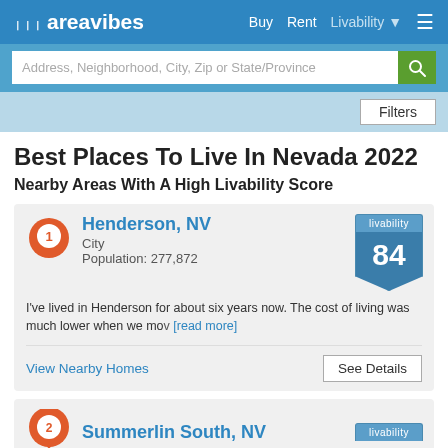areavibes — Buy  Rent  Livability
Best Places To Live In Nevada 2022
Nearby Areas With A High Livability Score
Henderson, NV
City
Population: 277,872
I've lived in Henderson for about six years now. The cost of living was much lower when we mov [read more]
livability 84
View Nearby Homes   See Details
Summerlin South, NV
livability